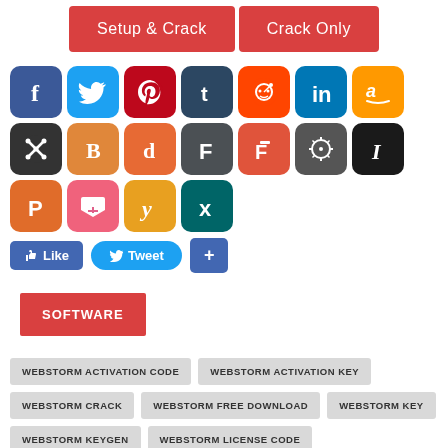[Figure (screenshot): Two red buttons: Setup & Crack and Crack Only]
[Figure (screenshot): Social media sharing icons: Facebook, Twitter, Pinterest, Tumblr, Reddit, LinkedIn, Amazon, Mix, Blogger, Digg, FriendFeed, Flipboard, Mi, Instapaper, Pinboard, Pocket, Yummly, Xing]
[Figure (screenshot): Social action buttons: Like, Tweet, Share Plus]
SOFTWARE
WEBSTORM ACTIVATION CODE
WEBSTORM ACTIVATION KEY
WEBSTORM CRACK
WEBSTORM FREE DOWNLOAD
WEBSTORM KEY
WEBSTORM KEYGEN
WEBSTORM LICENSE CODE
WEBSTORM LICENSE KEY
WEBSTORM LICENSE NUMBER
WEBSTORM PATCH
WEBSTORM PRODCUT KEY
WEBSTORM REGISTRATION CODE
WEBSTORM REGISTRATION KEY